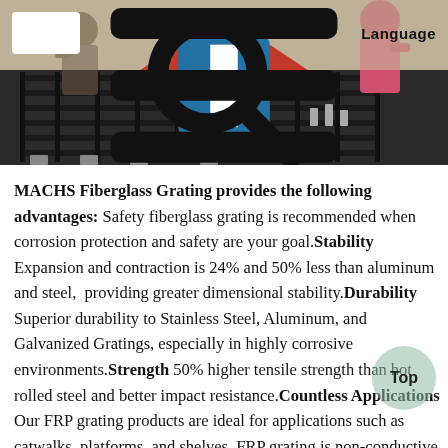[Figure (photo): Construction workers laying fiberglass grating panels on a large flat surface; workers visible in background with rebar and materials; navigation bar overlaid with logo, hamburger menu, search icon, and Language label]
MACHS Fiberglass Grating provides the following advantages: Safety fiberglass grating is recommended when corrosion protection and safety are your goal.Stability Expansion and contraction is 24% and 50% less than aluminum and steel,  providing greater dimensional stability.Durability Superior durability to Stainless Steel, Aluminum, and Galvanized Gratings, especially in highly corrosive environments.Strength 50% higher tensile strength than hot rolled steel and better impact resistance.Countless Applications Our FRP grating products are ideal for applications such as catwalks, platforms, and shelves. FRP grating is non-conductive and non-magnetic, easy to install and offers optimal performance for over 15